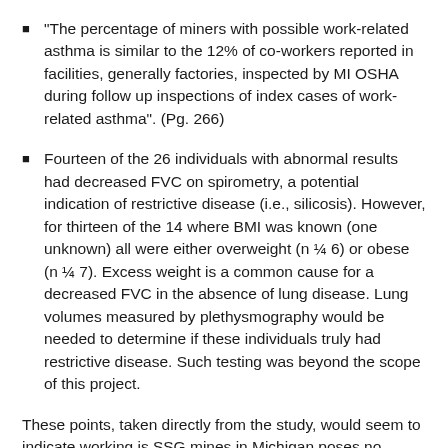"The percentage of miners with possible work-related asthma is similar to the 12% of co-workers reported in facilities, generally factories, inspected by MI OSHA during follow up inspections of index cases of work-related asthma". (Pg. 266)
Fourteen of the 26 individuals with abnormal results had decreased FVC on spirometry, a potential indication of restrictive disease (i.e., silicosis). However, for thirteen of the 14 where BMI was known (one unknown) all were either overweight (n ¼ 6) or obese (n ¼ 7). Excess weight is a common cause for a decreased FVC in the absence of lung disease. Lung volumes measured by plethysmography would be needed to determine if these individuals truly had restrictive disease. Such testing was beyond the scope of this project.
These points, taken directly from the study, would seem to indicate working is SSG mines in Michigan poses no unusual